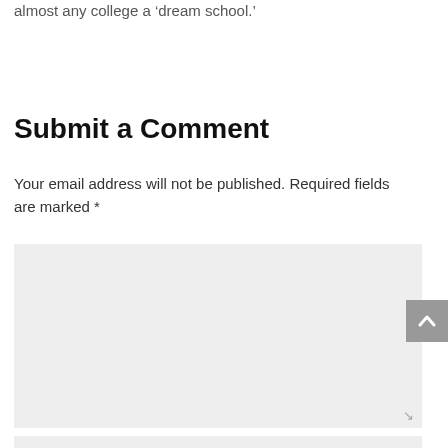almost any college a ‘dream school.’
Submit a Comment
Your email address will not be published. Required fields are marked *
[Figure (screenshot): Comment text area input field with placeholder text 'Comment *' and a resize handle in the bottom-right corner]
[Figure (screenshot): Scroll-to-top button (chevron up arrow) on right side, gray background]